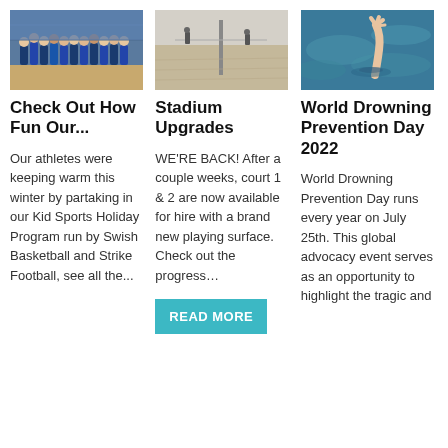[Figure (photo): Group photo of athletes in a gymnasium/basketball court, team in blue uniforms]
Check Out How Fun Our...
Our athletes were keeping warm this winter by partaking in our Kid Sports Holiday Program run by Swish Basketball and Strike Football, see all the...
[Figure (photo): Outdoor sandy court or field with some figures visible in the distance, a post in the center]
Stadium Upgrades
WE'RE BACK! After a couple weeks, court 1 & 2 are now available for hire with a brand new playing surface. Check out the progress…
READ MORE
[Figure (photo): Swimming pool photo showing a hand raised out of blue water, aerial or side angle]
World Drowning Prevention Day 2022
World Drowning Prevention Day runs every year on July 25th. This global advocacy event serves as an opportunity to highlight the tragic and